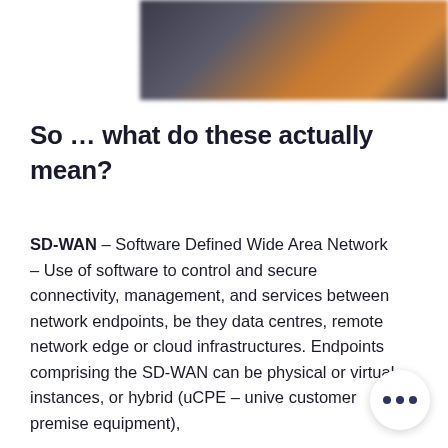[Figure (photo): Blurred background image with dark and orange tones, partially visible at top of page]
So … what do these actually mean?
SD-WAN – Software Defined Wide Area Network – Use of software to control and secure connectivity, management, and services between network endpoints, be they data centres, remote network edge or cloud infrastructures. Endpoints comprising the SD-WAN can be physical or virtual instances, or hybrid (uCPE – unive… customer premise equipment),